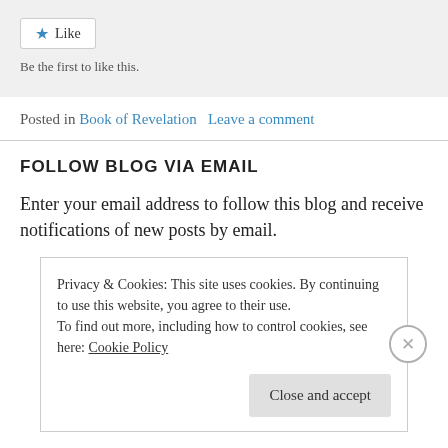[Figure (other): Like button with star icon and text 'Be the first to like this.']
Posted in Book of Revelation   Leave a comment
FOLLOW BLOG VIA EMAIL
Enter your email address to follow this blog and receive notifications of new posts by email.
Privacy & Cookies: This site uses cookies. By continuing to use this website, you agree to their use.
To find out more, including how to control cookies, see here: Cookie Policy
Close and accept